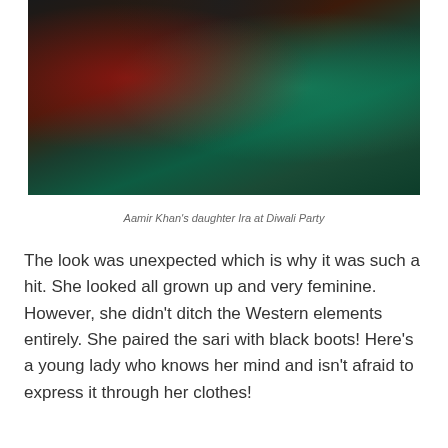[Figure (photo): Two women at a Diwali party. One woman is wearing a teal/green sari with dark embroidered border, and the other is wearing a dark red/maroon outfit. Photo taken at night.]
Aamir Khan's daughter Ira at Diwali Party
The look was unexpected which is why it was such a hit. She looked all grown up and very feminine. However, she didn't ditch the Western elements entirely. She paired the sari with black boots! Here's a young lady who knows her mind and isn't afraid to express it through her clothes!